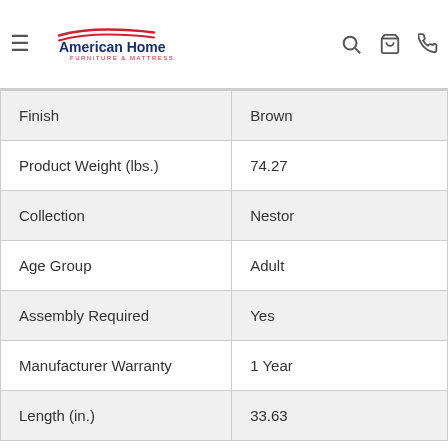American Home Furniture & Mattress
| Attribute | Value |
| --- | --- |
| Finish | Brown |
| Product Weight (lbs.) | 74.27 |
| Collection | Nestor |
| Age Group | Adult |
| Assembly Required | Yes |
| Manufacturer Warranty | 1 Year |
| Length (in.) | 33.63 |